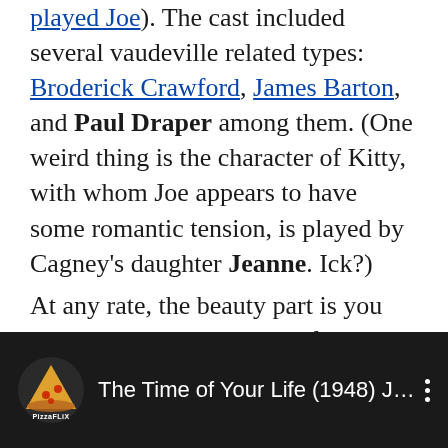played Joe). The cast included several vaudeville related types: Broderick Crawford, James Barton, and Paul Draper among them. (One weird thing is the character of Kitty, with whom Joe appears to have some romantic tension, is played by Cagney's daughter Jeanne. Ick?)
At any rate, the beauty part is you can watch the whole thing for yourself right now if you so choose:
[Figure (screenshot): YouTube-style video thumbnail with dark background showing PizzaFlix logo (pizza slice icon) and title 'The Time of Your Life (1948) JAME...' with three-dot menu icon]